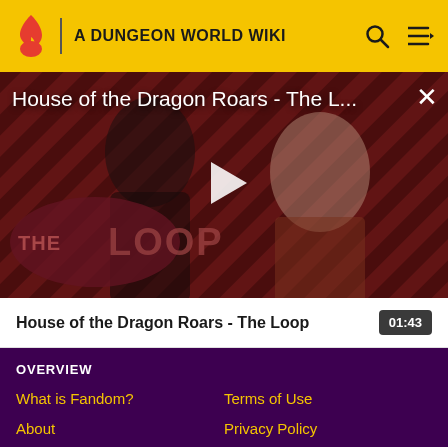A DUNGEON WORLD WIKI
[Figure (screenshot): Video thumbnail for 'House of the Dragon Roars - The L...' showing two characters from House of the Dragon against a diagonal stripe background with 'THE LOOP' logo overlay and a play button in the center.]
House of the Dragon Roars - The L...
House of the Dragon Roars - The Loop
01:43
OVERVIEW
What is Fandom?
Terms of Use
About
Privacy Policy